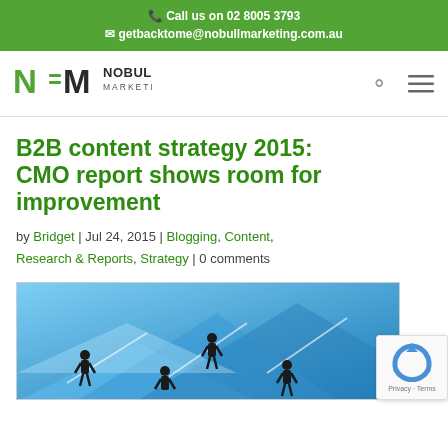Call us on 02 8005 3793 | getbacktome@nobullmarketing.com.au
[Figure (logo): NoBull Marketing logo with stylized N=M letters in green and black text]
B2B content strategy 2015: CMO report shows room for improvement
by Bridget | Jul 24, 2015 | Blogging, Content, Research & Reports, Strategy | 0 comments
[Figure (illustration): Business people silhouettes standing on large directional arrows pointing in different directions, blue tones]